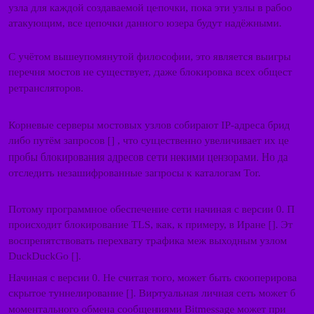узла для каждой создаваемой цепочки, пока эти узлы в рабо... атакующим, все цепочки данного юзера будут надёжными.
С учётом вышеупомянутой философии, это является выигры... перечня мостов не существует, даже блокировка всех общест... ретрансляторов.
Корневые серверы мостовых узлов собирают IP-адреса брид... либо путём запросов [], что существенно увеличивает их це... пробы блокирования адресов сети некими цензорами. Но да... отследить незашифрованные запросы к каталогам Tor.
Потому программное обеспечение сети начиная с версии 0. ... происходит блокирование TLS, как, к примеру, в Иране []. Эт... воспрепятствовать перехвату трафика меж выходным узлом ... DuckDuckGo [].
Начиная с версии 0. Не считая того, может быть скооперирова... скрытое туннелирование []. Виртуальная личная сеть может б... моментального обмена сообщениями Bitmessage может пр... настроена для индексирования скрытых сервисов Tor. Для...